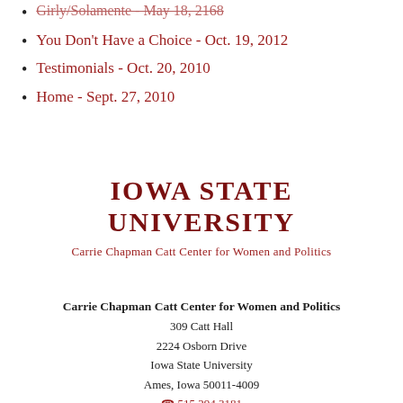Girly/Solamente - May 18, 2168
You Don't Have a Choice - Oct. 19, 2012
Testimonials - Oct. 20, 2010
Home - Sept. 27, 2010
[Figure (logo): Iowa State University wordmark logo in dark red, all caps serif font, two lines: IOWA STATE / UNIVERSITY]
Carrie Chapman Catt Center for Women and Politics
Carrie Chapman Catt Center for Women and Politics
309 Catt Hall
2224 Osborn Drive
Iowa State University
Ames, Iowa 50011-4009
☎ 515.294.3181